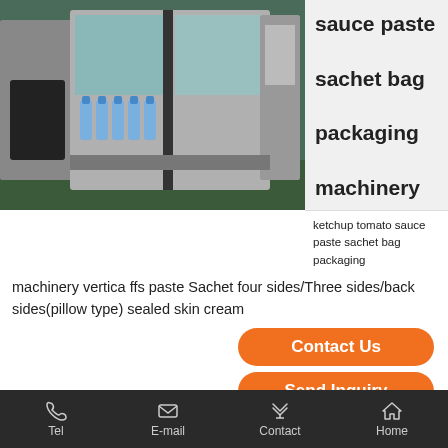[Figure (photo): Industrial bottling/filling machinery with stainless steel equipment and blue-capped bottles on a conveyor line]
sauce paste sachet bag packaging machinery
ketchup tomato sauce paste sachet bag packaging machinery vertica ffs paste Sachet four sides/Three sides/back sides(pillow type) sealed skin cream
Contact Us
Send Inquiry
[Figure (photo): Industrial warehouse/factory interior with pipes and machinery structure]
China
Automatic
Tel   E-mail   Contact   Home